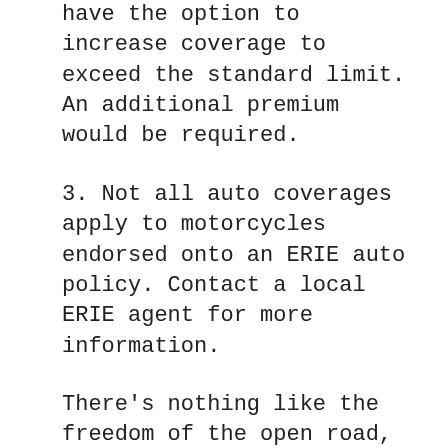have the option to increase coverage to exceed the standard limit. An additional premium would be required.
3. Not all auto coverages apply to motorcycles endorsed onto an ERIE auto policy. Contact a local ERIE agent for more information.
There's nothing like the freedom of the open road, with the feeling of wind in your face and the sound of a rumbling V-twin engine.
It's a sensation that attracts millions of Americans to jump on their motorcycles each year. But when making the decision to buy your first bike, there are a lot of factors to consider.